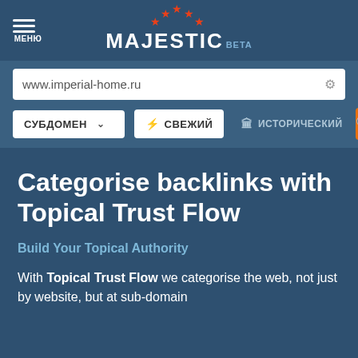МЕНЮ | MAJESTIC BETA
www.imperial-home.ru
СУБДОМЕН | СВЕЖИЙ | ИСТОРИЧЕСКИЙ
Categorise backlinks with Topical Trust Flow
Build Your Topical Authority
With Topical Trust Flow we categorise the web, not just by website, but at sub-domain